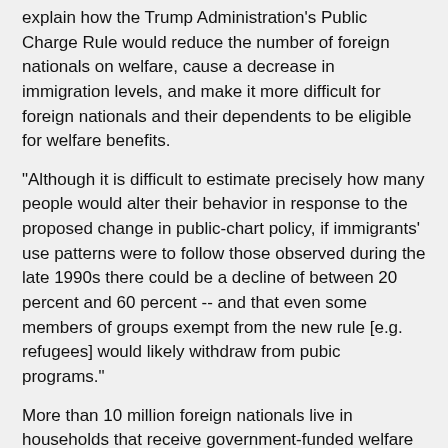explain how the Trump Administration's Public Charge Rule would reduce the number of foreign nationals on welfare, cause a decrease in immigration levels, and make it more difficult for foreign nationals and their dependents to be eligible for welfare benefits.
"Although it is difficult to estimate precisely how many people would alter their behavior in response to the proposed change in public-chart policy, if immigrants' use patterns were to follow those observed during the late 1990s there could be a decline of between 20 percent and 60 percent -- and that even some members of groups exempt from the new rule [e.g. refugees] would likely withdraw from pubic programs."
More than 10 million foreign nationals live in households that receive government-funded welfare benefits, including Medicaid, TANF or SSI (cash) benefits, food stamps and/or Social Security benefits.
For more information, see the Washington Examiner.